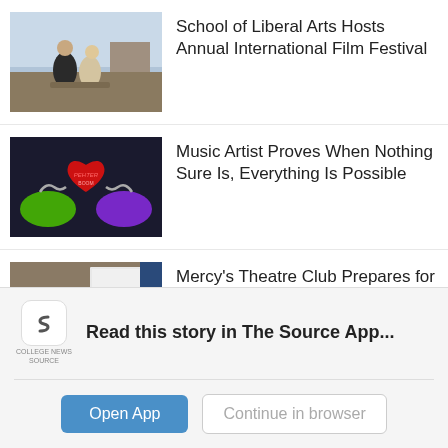[Figure (photo): Two people sitting outdoors in a rural landscape scene]
School of Liberal Arts Hosts Annual International Film Festival
[Figure (illustration): Colorful illustration of two green hands holding a red heart with chains on dark background]
Music Artist Proves When Nothing Sure Is, Everything Is Possible
[Figure (photo): Audience seated in a lecture hall or auditorium watching a presentation on a screen]
Mercy's Theatre Club Prepares for Their Starlight Showcase
Read this story in The Source App...
Open App
Continue in browser